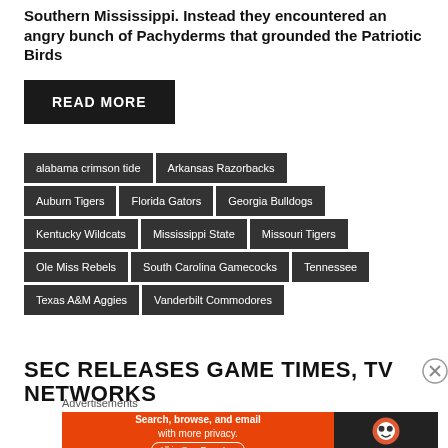Southern Mississippi. Instead they encountered an angry bunch of Pachyderms that grounded the Patriotic Birds
READ MORE
alabama crimson tide
Arkansas Razorbacks
Auburn Tigers
Florida Gators
Georgia Bulldogs
Kentucky Wildcats
Mississippi State
Missouri Tigers
Ole Miss Rebels
South Carolina Gamecocks
Tennessee
Texas A&M Aggies
Vanderbilt Commodores
SEC RELEASES GAME TIMES, TV NETWORKS
Advertisements
[Figure (other): DuckDuckGo advertisement banner: Search, browse, and email with more privacy. All in One Free App.]